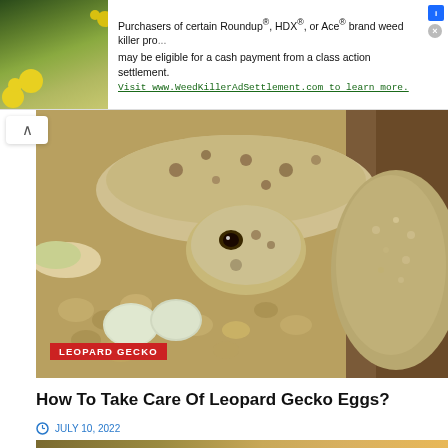[Figure (screenshot): Advertisement banner for WeedKillerAdSettlement.com with plant photo on left and text on right stating purchasers of certain Roundup®, HDX®, or Ace® brand weed killer products may be eligible for a cash payment from a class action settlement. Visit www.WeedKillerAdSettlement.com to learn more.]
[Figure (photo): Close-up photo of two leopard geckos near two white eggs on gravelly substrate, with a red label overlay reading LEOPARD GECKO]
How To Take Care Of Leopard Gecko Eggs?
JULY 10, 2022
[Figure (photo): Partial bottom photo showing a blurred warm-toned background, presumably another gecko or related image]